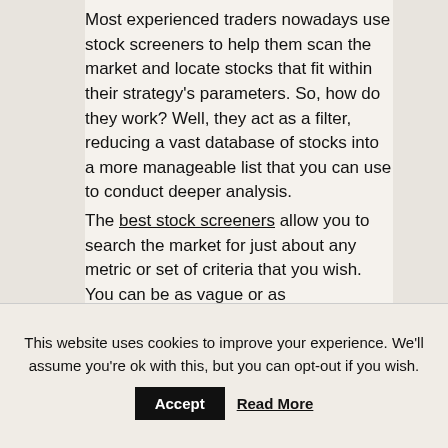Most experienced traders nowadays use stock screeners to help them scan the market and locate stocks that fit within their strategy's parameters. So, how do they work? Well, they act as a filter, reducing a vast database of stocks into a more manageable list that you can use to conduct deeper analysis.

The best stock screeners allow you to search the market for just about any metric or set of criteria that you wish. You can be as vague or as
This website uses cookies to improve your experience. We'll assume you're ok with this, but you can opt-out if you wish. Accept Read More